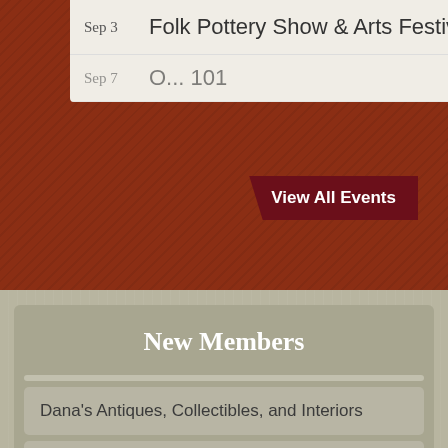Sep 3   Folk Pottery Show & Arts Festival
Sep 7   O... 101
View All Events
New Members
Dana's Antiques, Collectibles, and Interiors
B-Major Academy
The Helen Hat Company
Just A Jumpin'